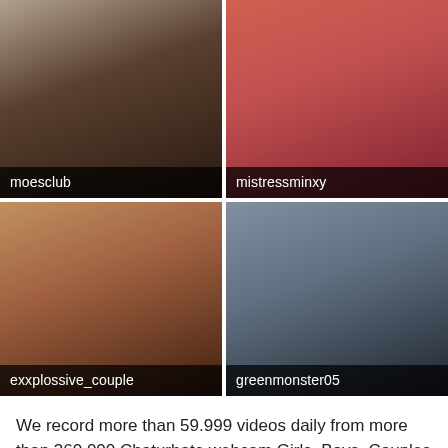[Figure (photo): Webcam thumbnail labeled 'moesclub']
[Figure (photo): Webcam thumbnail labeled 'mistressminxy']
[Figure (photo): Webcam thumbnail labeled 'exxplossive_couple']
[Figure (photo): Webcam thumbnail labeled 'greenmonster05']
We record more than 59.999 videos daily from more than 360.000 Chaturbate webcam Girls, Boys, Couples and Trans webcam models. We have boy records with free dildo toying, cool ohmibod play, perfect blowjob and a lot of private premium fuck shows. (Max Jhonson) from Miami who born 1999-10-12 is just one of 360.000+ Chaturbate broadcusters! Chaturbate SAVE MY CAM premium club - most popular cams records library with free and unlimited worldwide access for all out members.